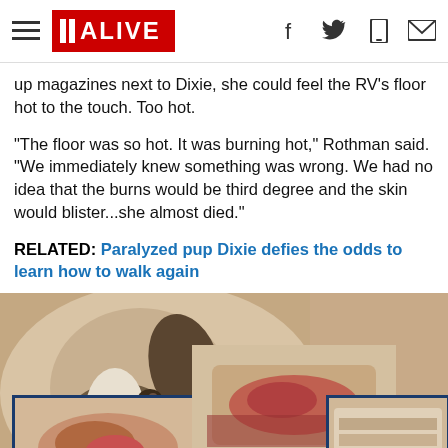11 ALIVE
up magazines next to Dixie, she could feel the RV's floor hot to the touch. Too hot.
"The floor was so hot. It was burning hot," Rothman said. “We immediately knew something was wrong. We had no idea that the burns would be third degree and the skin would blister...she almost died.”
RELATED: Paralyzed pup Dixie defies the odds to learn how to walk again
[Figure (photo): Photo collage showing a dog (Dixie) and close-up images of burn injuries on the dog's paws/skin, with blue-bordered thumbnail overlays]